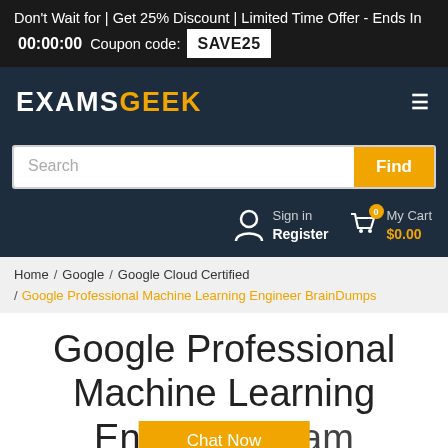Don't Wait for | Get 25% Discount | Limited Time Offer - Ends In 00:00:00 Coupon code: SAVE25
[Figure (logo): ExamsGeek logo with EXAMS in white and GEEK in orange/gold, dark navy background]
Search / Find
Sign in Register | My Cart $0.00
Home / Google / Google Cloud Certified / Google Professional Machine Learning Engineer BrainDumps
Google Professional Machine Learning Engineer Exam